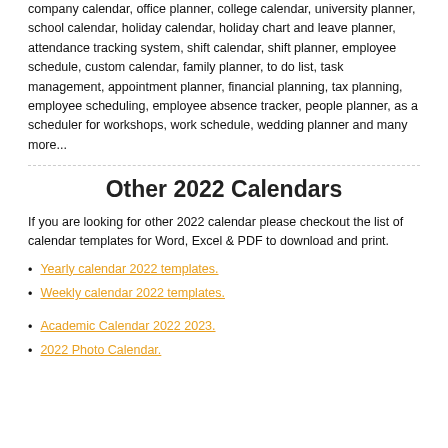company calendar, office planner, college calendar, university planner, school calendar, holiday calendar, holiday chart and leave planner, attendance tracking system, shift calendar, shift planner, employee schedule, custom calendar, family planner, to do list, task management, appointment planner, financial planning, tax planning, employee scheduling, employee absence tracker, people planner, as a scheduler for workshops, work schedule, wedding planner and many more...
Other 2022 Calendars
If you are looking for other 2022 calendar please checkout the list of calendar templates for Word, Excel & PDF to download and print.
Yearly calendar 2022 templates.
Weekly calendar 2022 templates.
Academic Calendar 2022 2023.
2022 Photo Calendar.